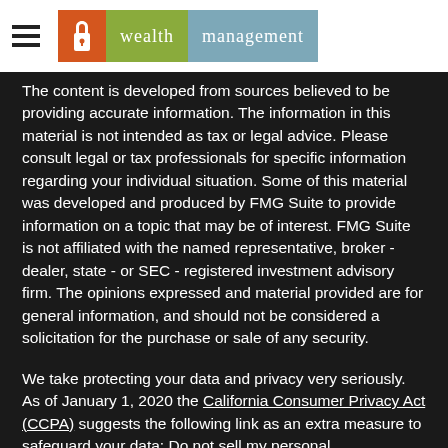[Figure (logo): Wealth Management logo with hamburger menu icon, keyhole icon on orange background, 'wealth' on green background, 'management' on blue-grey background]
The content is developed from sources believed to be providing accurate information. The information in this material is not intended as tax or legal advice. Please consult legal or tax professionals for specific information regarding your individual situation. Some of this material was developed and produced by FMG Suite to provide information on a topic that may be of interest. FMG Suite is not affiliated with the named representative, broker - dealer, state - or SEC - registered investment advisory firm. The opinions expressed and material provided are for general information, and should not be considered a solicitation for the purchase or sale of any security.
We take protecting your data and privacy very seriously. As of January 1, 2020 the California Consumer Privacy Act (CCPA) suggests the following link as an extra measure to safeguard your data: Do not sell my personal